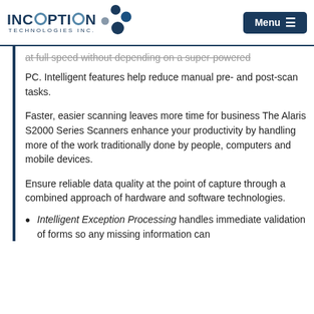INCEPTION TECHNOLOGIES INC. | Menu
at full speed without depending on a super-powered PC. Intelligent features help reduce manual pre- and post-scan tasks.
Faster, easier scanning leaves more time for business The Alaris S2000 Series Scanners enhance your productivity by handling more of the work traditionally done by people, computers and mobile devices.
Ensure reliable data quality at the point of capture through a combined approach of hardware and software technologies.
Intelligent Exception Processing handles immediate validation of forms so any missing information can